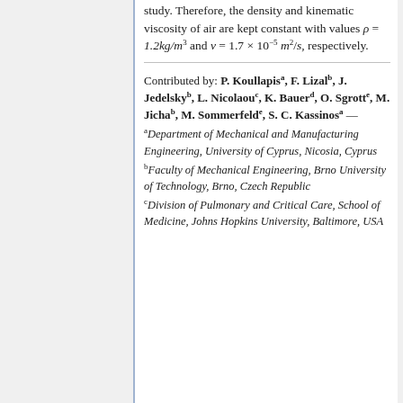study. Therefore, the density and kinematic viscosity of air are kept constant with values ρ = 1.2kg/m³ and ν = 1.7 × 10⁻⁵ m²/s, respectively.
Contributed by: P. Koullapis^a, F. Lizal^b, J. Jedelsky^b, L. Nicolaou^c, K. Bauer^d, O. Sgrott^e, M. Jicha^b, M. Sommerfeld^e, S. C. Kassinos^a —
^a Department of Mechanical and Manufacturing Engineering, University of Cyprus, Nicosia, Cyprus
^b Faculty of Mechanical Engineering, Brno University of Technology, Brno, Czech Republic
^c Division of Pulmonary and Critical Care, School of Medicine, Johns Hopkins University, Baltimore, USA